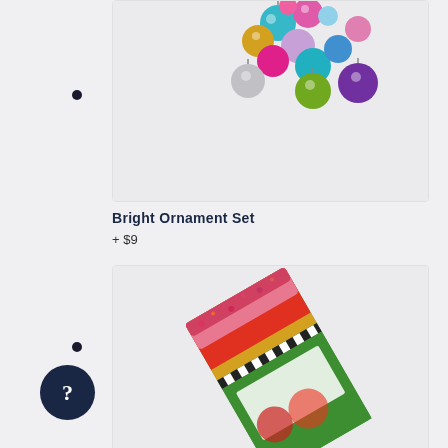[Figure (photo): Colorful Christmas ornament balls in various colors including pink, teal, green, purple, gold, and silver arranged in a cluster on a light gray background]
Bright Ornament Set
+ $9
[Figure (photo): A boxed Christmas gift set with festive holiday packaging featuring Santa Claus and holiday decorations with red, green, and gold colors, shown at an angle]
[Figure (illustration): Dark navy circular help button with a question mark icon]